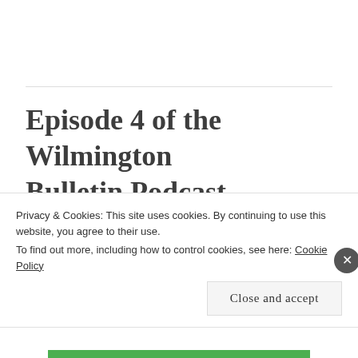Episode 4 of the Wilmington Bulletin Podcast
JUNE 8, 2016  ~  LEAVE A COMMENT
Here is my newest podcast episode, featuring Mark Rembert of Energize Clinton County (and formerly
Privacy & Cookies: This site uses cookies. By continuing to use this website, you agree to their use.
To find out more, including how to control cookies, see here: Cookie Policy
Close and accept